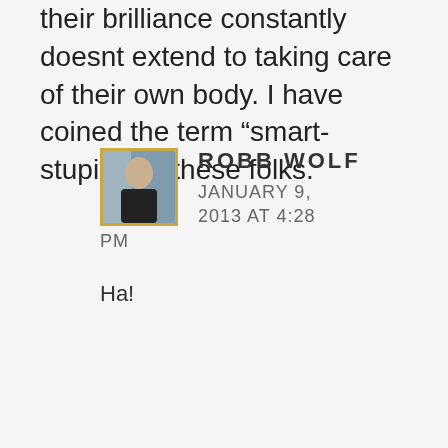their brilliance constantly doesnt extend to taking care of their own body. I have coined the term “smart-stupid” for these folks.
ROBB WOLF
JANUARY 9, 2013 AT 4:28 PM
Ha!